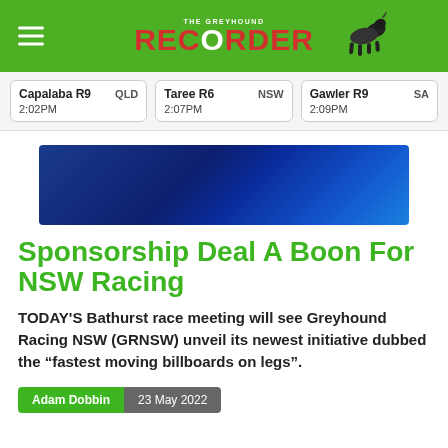THE GREYHOUND RECORDER
Capalaba R9 QLD 2:02PM | Taree R6 NSW 2:07PM | Gawler R9 SA 2:09PM
[Figure (other): Blue gradient advertisement banner]
Sponsorship Deal A Boon For NSW Racing
TODAY'S Bathurst race meeting will see Greyhound Racing NSW (GRNSW) unveil its newest initiative dubbed the “fastest moving billboards on legs”.
Adam Dobbin  23 May 2022